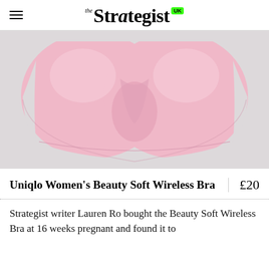the Strategist UK
[Figure (photo): Product photo of a pink wireless bra (Uniqlo Women's Beauty Soft Wireless Bra) displayed against a light grey background.]
Uniqlo Women's Beauty Soft Wireless Bra
£20
Strategist writer Lauren Ro bought the Beauty Soft Wireless Bra at 16 weeks pregnant and found it to